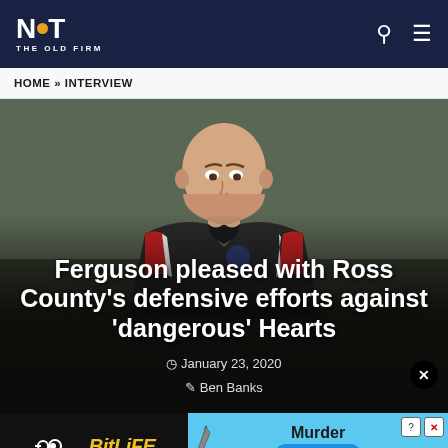NOT THE OLD FIRM
HOME » INTERVIEW
[Figure (photo): A bald man in a dark polo shirt with red/white accents looking downward, photographed outdoors with a blurred green background. This appears to be a football manager.]
Ferguson pleased with Ross County's defensive efforts against 'dangerous' Hearts
January 23, 2020
Ben Banks
[Figure (screenshot): Advertisement banner for BitLife game showing 'Murder Do it!' with BitLife logo on black background and cyan/blue game interface]